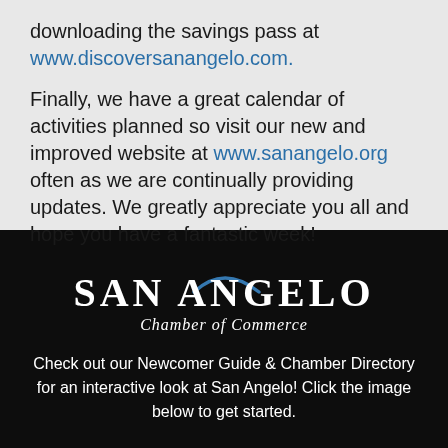downloading the savings pass at www.discoversanangelo.com.
Finally, we have a great calendar of activities planned so visit our new and improved website at www.sanangelo.org often as we are continually providing updates. We greatly appreciate you all and hope you have a fantastic week!
[Figure (logo): San Angelo Chamber of Commerce logo — white text with a blue arc/wave over the letter A in Angelo, on black background. Text reads 'SAN ANGELO' in large serif caps, and 'Chamber of Commerce' in italic below.]
Check out our Newcomer Guide & Chamber Directory for an interactive look at San Angelo! Click the image below to get started.